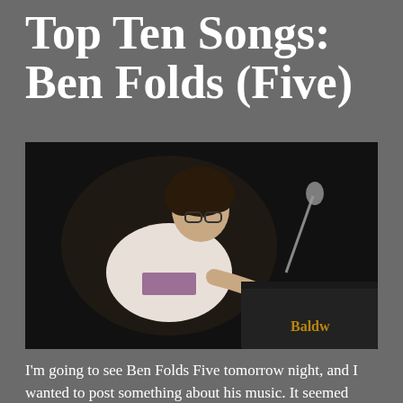Top Ten Songs: Ben Folds (Five)
[Figure (photo): Ben Folds playing a Baldwin grand piano on stage, wearing a white t-shirt, leaning over keys, with a microphone stand visible in the background against a dark stage backdrop.]
I'm going to see Ben Folds Five tomorrow night, and I wanted to post something about his music. It seemed redundant to post about the new live album, Ben Folds